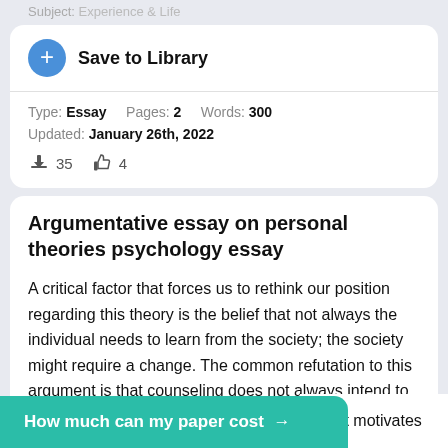Subject: Experience & Life
Save to Library
Type: Essay   Pages: 2   Words: 300
Updated: January 26th, 2022
35   4
Argumentative essay on personal theories psychology essay
A critical factor that forces us to rethink our position regarding this theory is the belief that not always the individual needs to learn from the society; the society might require a change. The common refutation to this argument is that counseling does not always intend to achieve [...]ather it motivates
How much can my paper cost →